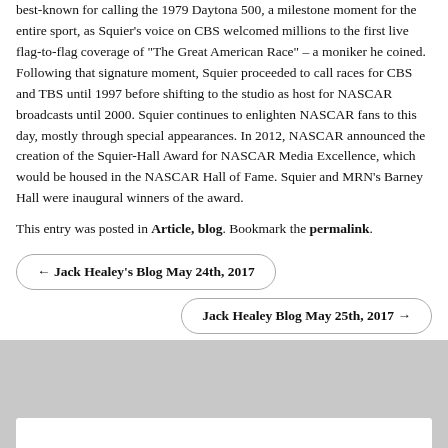best-known for calling the 1979 Daytona 500, a milestone moment for the entire sport, as Squier's voice on CBS welcomed millions to the first live flag-to-flag coverage of "The Great American Race" – a moniker he coined. Following that signature moment, Squier proceeded to call races for CBS and TBS until 1997 before shifting to the studio as host for NASCAR broadcasts until 2000. Squier continues to enlighten NASCAR fans to this day, mostly through special appearances. In 2012, NASCAR announced the creation of the Squier-Hall Award for NASCAR Media Excellence, which would be housed in the NASCAR Hall of Fame. Squier and MRN's Barney Hall were inaugural winners of the award.
This entry was posted in Article, blog. Bookmark the permalink.
← Jack Healey's Blog May 24th, 2017
Jack Healey Blog May 25th, 2017 →